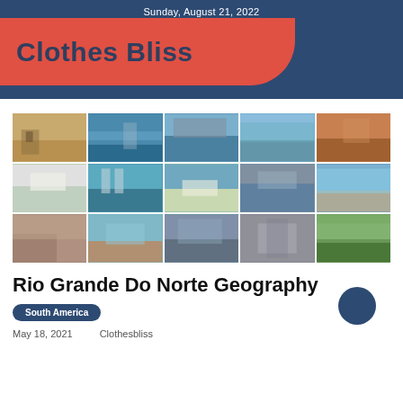Sunday, August 21, 2022
Clothes Bliss
[Figure (photo): A 5x3 grid collage of aerial and landscape photographs of Rio Grande Do Norte geography, showing beaches, dunes, coastal cities, rivers, and cliffs in Brazil.]
Rio Grande Do Norte Geography
South America
May 18, 2021    Clothesbliss